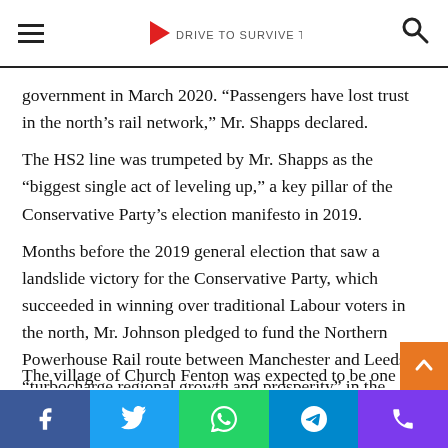[Hamburger menu] [Logo: Drive to Survive Trains] [Search icon]
government in March 2020. “Passengers have lost trust in the north’s rail network,” Mr. Shapps declared.
The HS2 line was trumpeted by Mr. Shapps as the “biggest single act of leveling up,” a key pillar of the Conservative Party’s election manifesto in 2019.
Months before the 2019 general election that saw a landslide victory for the Conservative Party, which succeeded in winning over traditional Labour voters in the north, Mr. Johnson pledged to fund the Northern Powerhouse Rail route between Manchester and Leeds to “turbocharge regional growth and prosperity” in the region.
The village of Church Fenton was expected to be one of
[Facebook] [Twitter] [WhatsApp] [Telegram] [Phone]